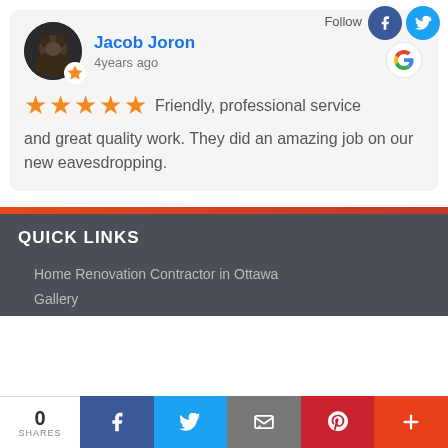Follow
Jacob Joron
4years ago
★★★★★ Friendly, professional service and great quality work. They did an amazing job on our new eavesdropping.
QUICK LINKS
Home Renovation Contractor in Ottawa
Gallery
0 SHARES